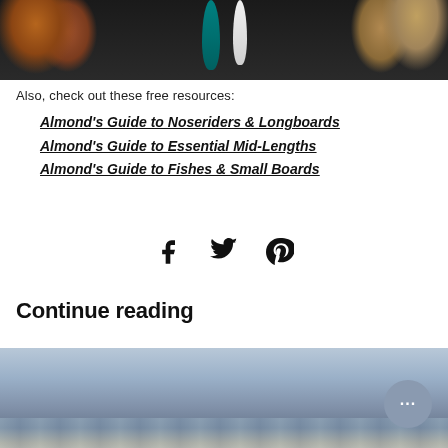[Figure (photo): Top portion of a photo showing surfboards leaning against a wall with terracotta pots on a dark surface]
Also, check out these free resources:
Almond's Guide to Noseriders & Longboards
Almond's Guide to Essential Mid-Lengths
Almond's Guide to Fishes & Small Boards
[Figure (infographic): Social share icons: Facebook, Twitter, Pinterest]
Continue reading
[Figure (photo): Bottom portion showing ocean/beach scene with water and sandy shore, chat bubble overlay with ellipsis]